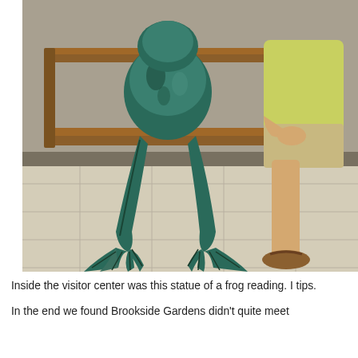[Figure (photo): A bronze/patinated green frog statue sitting on a wooden bench next to a real person (man in shorts and sandals). The frog statue has webbed feet and detailed muscular legs. They appear to be inside a visitor center with tile flooring.]
Inside the visitor center was this statue of a frog reading. I tips.
In the end we found Brookside Gardens didn't quite meet